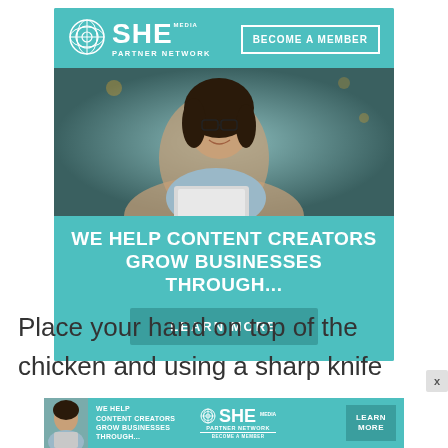[Figure (infographic): SHE Media Partner Network advertisement banner. Teal/turquoise background with logo, 'BECOME A MEMBER' button, photo of smiling woman with glasses and laptop, headline 'WE HELP CONTENT CREATORS GROW BUSINESSES THROUGH...' and 'LEARN MORE' button.]
Place your hand on top of the chicken and using a sharp knife
[Figure (infographic): SHE Media Partner Network bottom banner ad with photo, tagline 'WE HELP CONTENT CREATORS GROW BUSINESSES THROUGH...', logo, and 'LEARN MORE' button.]